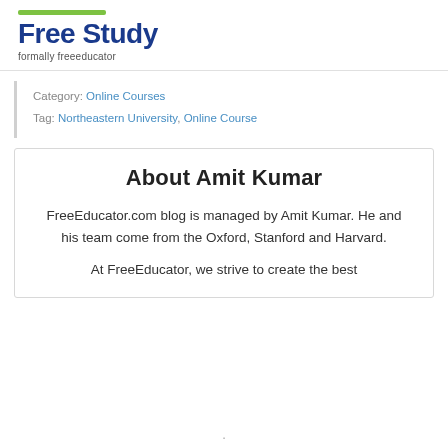Free Study
formally freeeducator
Category: Online Courses
Tag: Northeastern University, Online Course
About Amit Kumar
FreeEducator.com blog is managed by Amit Kumar. He and his team come from the Oxford, Stanford and Harvard.
At FreeEducator, we strive to create the best